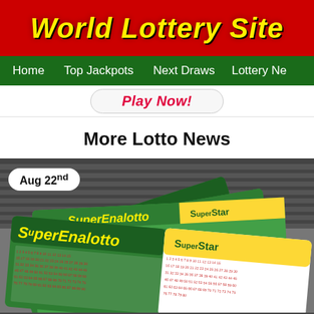World Lottery Site
Home   Top Jackpots   Next Draws   Lottery Ne
Play Now!
More Lotto News
[Figure (photo): Photo of multiple SuperEnalotto lottery tickets fanned out, showing green and white ticket cards with SuperStar branding. Date badge reads Aug 22nd.]
A new way to play the SuperEnalotto